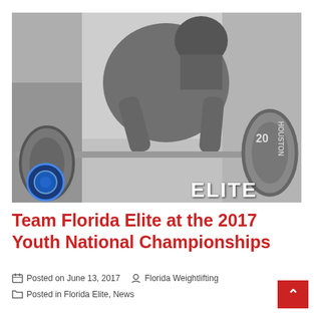[Figure (photo): Black and white photo of a young weightlifter leaning over a barbell in a gym, preparing to lift. The Florida Weightlifting logo badge is visible in the bottom left and 'ELITE' text appears in the bottom right of the image.]
Team Florida Elite at the 2017 Youth National Championships
Posted on June 13, 2017   Florida Weightlifting
Posted in Florida Elite, News